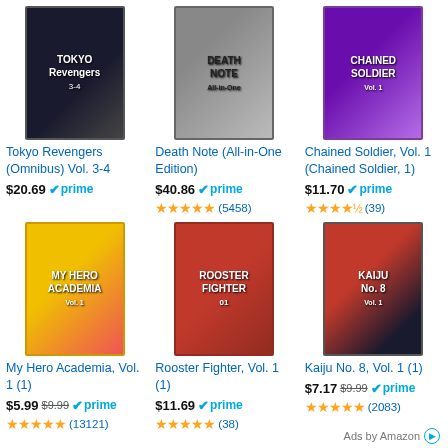[Figure (photo): Tokyo Revengers (Omnibus) Vol. 3-4 book cover, dark tones with characters]
Tokyo Revengers (Omnibus) Vol. 3-4
$20.69 prime
[Figure (photo): Death Note All-in-One Edition box set, black and white]
Death Note (All-in-One Edition)
$40.86 prime
★★★★★ (5458)
[Figure (photo): Chained Soldier Vol. 1 cover, purple-haired character with chains]
Chained Soldier, Vol. 1 (Chained Soldier, 1)
$11.70 prime
★★★★½ (39)
[Figure (photo): My Hero Academia Vol. 1 cover, yellow background with heroes]
My Hero Academia, Vol. 1 (1)
$5.99 $9.99 prime
★★★★★ (13121)
[Figure (photo): Rooster Fighter Vol. 1 cover, red rooster on dark background]
Rooster Fighter, Vol. 1 (1)
$11.69 prime
★★★★★ (38)
[Figure (photo): Kaiju No. 8 Vol. 1 cover, red and dark background with monster]
Kaiju No. 8, Vol. 1 (1)
$7.17 $9.99 prime
★★★★★ (2083)
Ads by Amazon